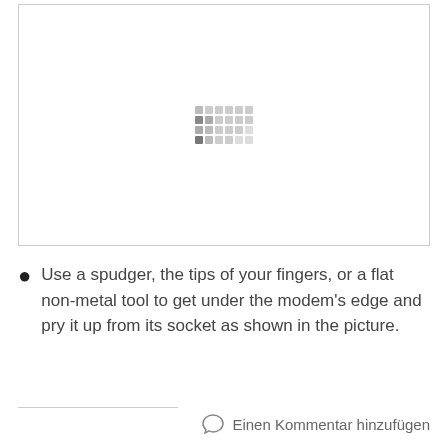[Figure (photo): A bordered white image area showing a loading/placeholder indicator (a small grid of grey dots) in the center, representing a photo of a modem being removed from its socket.]
Use a spudger, the tips of your fingers, or a flat non-metal tool to get under the modem's edge and pry it up from its socket as shown in the picture.
Einen Kommentar hinzufügen